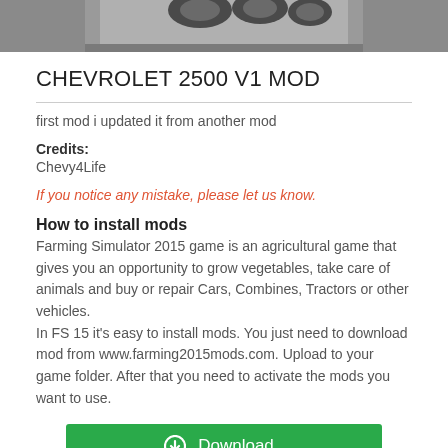[Figure (photo): Partial view of a vehicle/tractor mod, black and white photo, cropped at top of page]
CHEVROLET 2500 V1 MOD
first mod i updated it from another mod
Credits:
Chevy4Life
If you notice any mistake, please let us know.
How to install mods
Farming Simulator 2015 game is an agricultural game that gives you an opportunity to grow vegetables, take care of animals and buy or repair Cars, Combines, Tractors or other vehicles.
In FS 15 it's easy to install mods. You just need to download mod from www.farming2015mods.com. Upload to your game folder. After that you need to activate the mods you want to use.
[Figure (other): Green Download button with download icon]